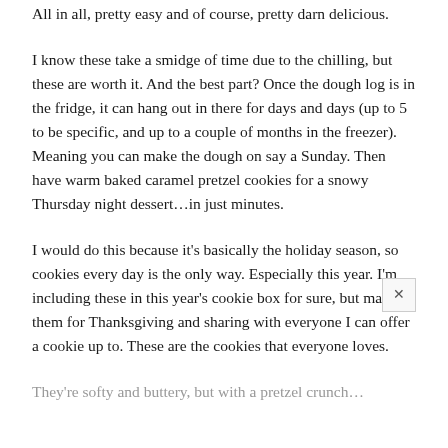All in all, pretty easy and of course, pretty darn delicious.
I know these take a smidge of time due to the chilling, but these are worth it. And the best part? Once the dough log is in the fridge, it can hang out in there for days and days (up to 5 to be specific, and up to a couple of months in the freezer). Meaning you can make the dough on say a Sunday. Then have warm baked caramel pretzel cookies for a snowy Thursday night dessert…in just minutes.
I would do this because it's basically the holiday season, so cookies every day is the only way. Especially this year. I'm including these in this year's cookie box for sure, but making them for Thanksgiving and sharing with everyone I can offer a cookie up to. These are the cookies that everyone loves.
They're softy and buttery, but with a pretzel crunch…